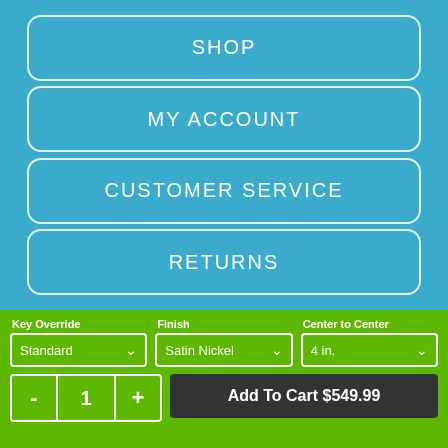SHOP
MY ACCOUNT
CUSTOMER SERVICE
RETURNS
Key Override
Standard
Finish
Satin Nickel
Center to Center
4 in.
- 1 +
Add To Cart $549.99